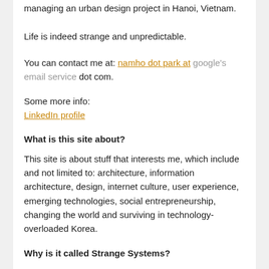managing an urban design project in Hanoi, Vietnam.
Life is indeed strange and unpredictable.
You can contact me at: namho dot park at google's email service dot com.
Some more info:
LinkedIn profile
What is this site about?
This site is about stuff that interests me, which include and not limited to: architecture, information architecture, design, internet culture, user experience, emerging technologies, social entrepreneurship, changing the world and surviving in technology-overloaded Korea.
Why is it called Strange Systems?
Back in architecture grad school, I and a couple of friends